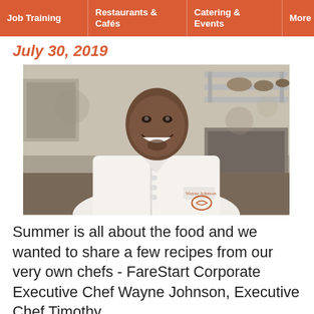Job Training | Restaurants & Cafés | Catering & Events | More | [search]
July 30, 2019
[Figure (photo): Portrait photo of Wayne Johnson, FareStart Corporate Executive Chef, smiling in chef whites with his name embroidered on the jacket, standing in a professional kitchen with stainless steel equipment in the background.]
Summer is all about the food and we wanted to share a few recipes from our very own chefs - FareStart Corporate Executive Chef Wayne Johnson, Executive Chef Timothy